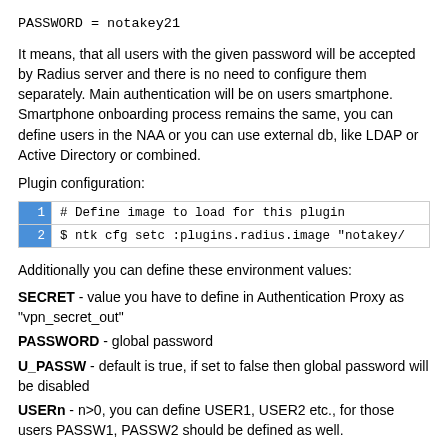PASSWORD = notakey21
It means, that all users with the given password will be accepted by Radius server and there is no need to configure them separately. Main authentication will be on users smartphone. Smartphone onboarding process remains the same, you can define users in the NAA or you can use external db, like LDAP or Active Directory or combined.
Plugin configuration:
[Figure (screenshot): Code block with line numbers and blue gutter. Line 1: # Define image to load for this plugin. Line 2: $ ntk cfg setc :plugins.radius.image "notakey/]
Additionally you can define these environment values:
SECRET - value you have to define in Authentication Proxy as "vpn_secret_out"
PASSWORD - global password
U_PASSW - default is true, if set to false then global password will be disabled
USERn - n>0, you can define USER1, USER2 etc., for those users PASSW1, PASSW2 should be defined as well.
PASSWn - n>0 Password for added users. Global password even if enabled will not work for manually added users.